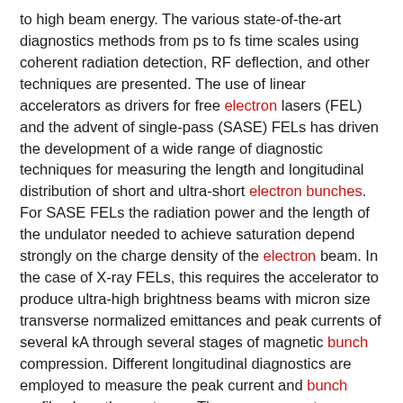to high beam energy. The various state-of-the-art diagnostics methods from ps to fs time scales using coherent radiation detection, RF deflection, and other techniques are presented. The use of linear accelerators as drivers for free electron lasers (FEL) and the advent of single-pass (SASE) FELs has driven the development of a wide range of diagnostic techniques for measuring the length and longitudinal distribution of short and ultra-short electron bunches. For SASE FELs the radiation power and the length of the undulator needed to achieve saturation depend strongly on the charge density of the electron beam. In the case of X-ray FELs, this requires the accelerator to produce ultra-high brightness beams with micron size transverse normalized emittances and peak currents of several kA through several stages of magnetic bunch compression. Different longitudinal diagnostics are employed to measure the peak current and bunch profile along these stages. The measurement techniques can be distinguished into different classes. Coherent methods detect the light emitted from the beam by some coherent radiation process (spectroscopic measurement), or directly measure the Coulomb field traveling with the beam (electro-optic). Phase space manipulation techniques map the time coordinate onto a transverse dimension and the measurement becomes a transverse